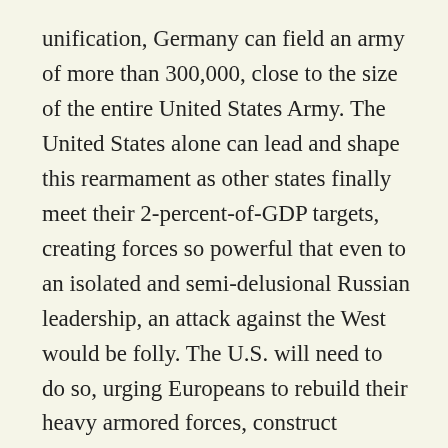unification, Germany can field an army of more than 300,000, close to the size of the entire United States Army. The United States alone can lead and shape this rearmament as other states finally meet their 2-percent-of-GDP targets, creating forces so powerful that even to an isolated and semi-delusional Russian leadership, an attack against the West would be folly. The U.S. will need to do so, urging Europeans to rebuild their heavy armored forces, construct hardened defenses (e.g., aircraft shelters), while expanding air and missile defense and acquiring long-range missiles to disable Russian air bases and staging areas in the event of war.